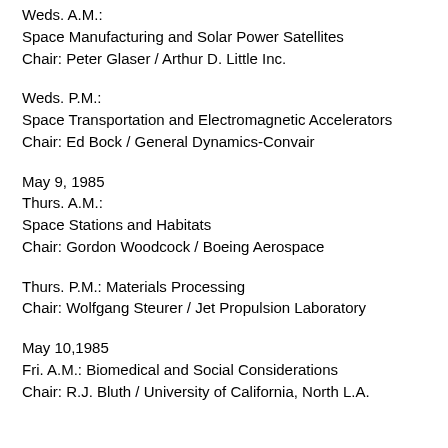Weds. A.M.:
Space Manufacturing and Solar Power Satellites
Chair: Peter Glaser / Arthur D. Little Inc.
Weds. P.M.:
Space Transportation and Electromagnetic Accelerators
Chair: Ed Bock / General Dynamics-Convair
May 9, 1985
Thurs. A.M.:
Space Stations and Habitats
Chair: Gordon Woodcock / Boeing Aerospace
Thurs. P.M.: Materials Processing
Chair: Wolfgang Steurer / Jet Propulsion Laboratory
May 10,1985
Fri. A.M.: Biomedical and Social Considerations
Chair: R.J. Bluth / University of California, North L.A.